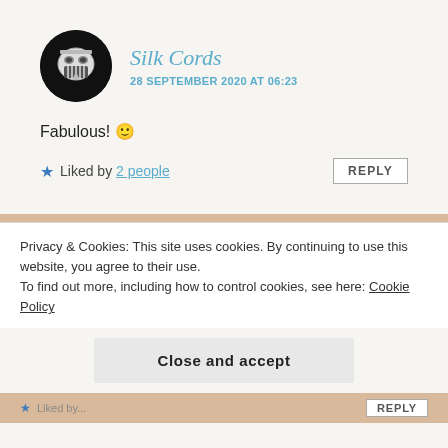[Figure (photo): Circular avatar with black background showing a stylized white robotic/mechanical face mask logo]
Silk Cords
28 SEPTEMBER 2020 AT 06:23
Fabulous! 🙂
★ Liked by 2 people
REPLY
Privacy & Cookies: This site uses cookies. By continuing to use this website, you agree to their use.
To find out more, including how to control cookies, see here: Cookie Policy
Close and accept